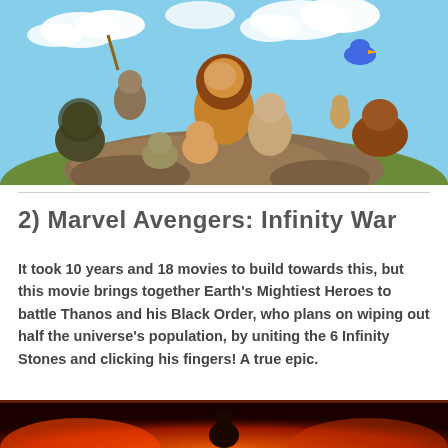[Figure (illustration): The Lion King animated movie poster showing characters including Simba, Mufasa, Rafiki, Scar, Nala, Timon, Pumbaa, and Zazu against a blue sky background]
2) Marvel Avengers: Infinity War
It took 10 years and 18 movies to build towards this, but this movie brings together Earth's Mightiest Heroes to battle Thanos and his Black Order, who plans on wiping out half the universe's population, by uniting the 6 Infinity Stones and clicking his fingers! A true epic.
[Figure (photo): Marvel Avengers: Infinity War movie poster showing Iron Man and other superheroes against a fiery orange/red background]